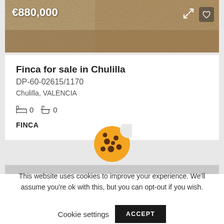[Figure (photo): Sandy/rocky terrain photo with price overlay €880,000 and expand/heart icons]
Finca for sale in Chulilla
DP-60-02615/1170
Chulilla, VALENCIA
0  0
FINCA
[Figure (photo): Second listing image (grey bar placeholder)]
[Figure (illustration): Cookie emoji icon]
This website uses cookies to improve your experience. We'll assume you're ok with this, but you can opt-out if you wish.
Cookie settings    ACCEPT